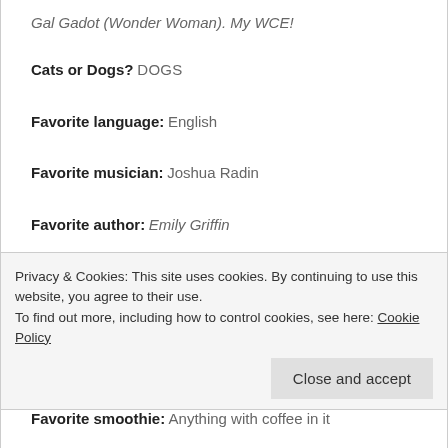Gal Gadot (Wonder Woman). My WCE!
Cats or Dogs? DOGS
Favorite language: English
Favorite musician: Joshua Radin
Favorite author: Emily Griffin
Favorite book: You Can Heal Your Life: Louise Hay
Privacy & Cookies: This site uses cookies. By continuing to use this website, you agree to their use.
To find out more, including how to control cookies, see here: Cookie Policy
Favorite smoothie: Anything with coffee in it